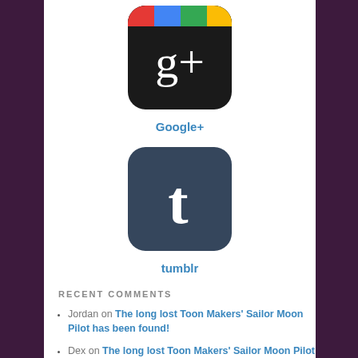[Figure (logo): Google+ app icon - black rounded square with colorful top bar and g+ text]
Google+
[Figure (logo): Tumblr app icon - dark blue rounded square with white t letter]
tumblr
RECENT COMMENTS
Jordan on The long lost Toon Makers' Sailor Moon Pilot has been found!
Dex on The long lost Toon Makers' Sailor Moon Pilot has been found!
Jordan on The long lost Toon Makers' Sailor Moon Pilot has been found!
Anonymoon on The long lost Toon Makers' Sailor Moon Pilot has been found!